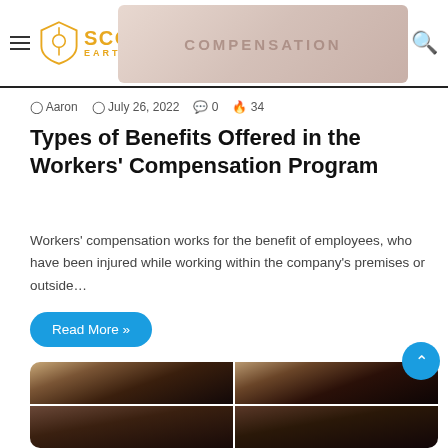ScoopEarth.net navigation header with hamburger menu and search icon
[Figure (photo): Banner image with compensation-related background, partially visible]
Aaron  July 26, 2022  0  34
Types of Benefits Offered in the Workers' Compensation Program
Workers' compensation works for the benefit of employees, who have been injured while working within the company's premises or outside…
Read More »
[Figure (photo): Four-panel photo grid showing a young woman with straight black hair with bangs, repeated in a 2x2 collage]